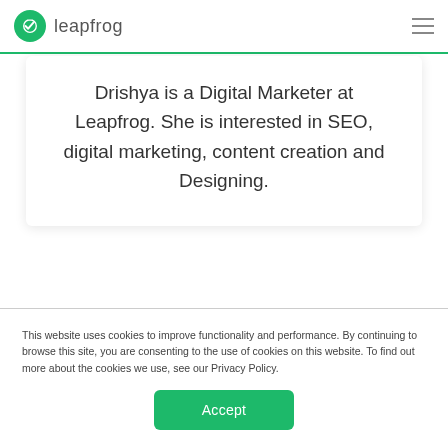leapfrog
Drishya is a Digital Marketer at Leapfrog. She is interested in SEO, digital marketing, content creation and Designing.
This website uses cookies to improve functionality and performance. By continuing to browse this site, you are consenting to the use of cookies on this website. To find out more about the cookies we use, see our Privacy Policy.
Accept